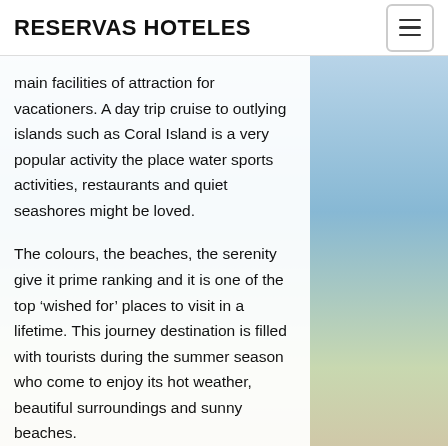RESERVAS HOTELES
main facilities of attraction for vacationers. A day trip cruise to outlying islands such as Coral Island is a very popular activity the place water sports activities, restaurants and quiet seashores might be loved.
The colours, the beaches, the serenity give it prime ranking and it is one of the top ‘wished for’ places to visit in a lifetime. This journey destination is filled with tourists during the summer season who come to enjoy its hot weather, beautiful surroundings and sunny beaches.
In case you are traveling with kids, you may need to consider youngsters ‘pleasant’ locations. It’s